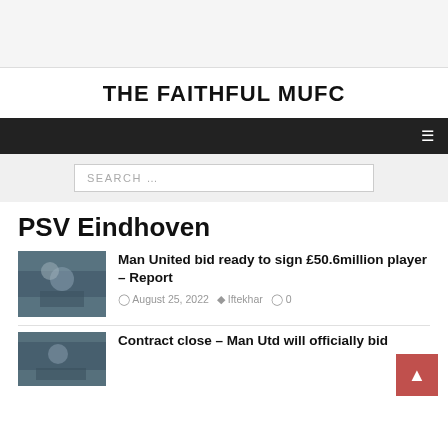THE FAITHFUL MUFC
PSV Eindhoven
Man United bid ready to sign £50.6million player – Report
August 25, 2022  Iftekhar  0
Contract close – Man Utd will officially bid